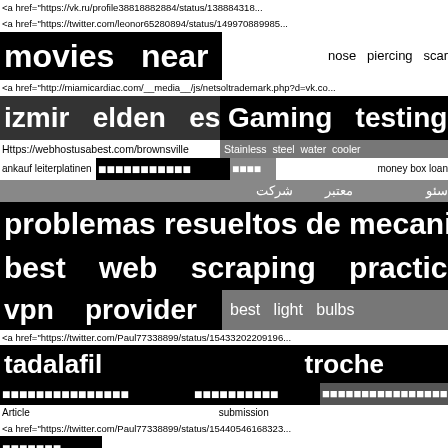<a href="https://vk.ru/profile38818882884/status/138884318...
<a href="https://twitter.com/leonor65280894/status/1499708899858...
movies near me
nose piercing scar
<a href="http://miamicardiac.com/__media__/js/netsoltrademark.php?d=vk.co...
izmir elden escort
Gaming testing
Https://webhostusabest.com/brownsville
Stainless steel water cooler
ankauf leiterplatinen
[CJK characters]
[CJK characters]
money box loan
شرکت معتبر سئو
problemas resueltos de mecanica de s...
best web scraping practices
vpn provider
best light bulbs
<a href="https://twitter.com/Paul77338899/status/1543320220919...
tadalafil troche
[Thai characters] [Thai characters] [Thai characters]
Article submission
<a href="https://twitter.com/Paul77338899/status/1544054616832...
[Thai characters]
<a href="https://forum.irina-baranova.ru/community/...
modest fashion
forever roses Miami
chinese enrichment class for k2
انجام پروژه متلب